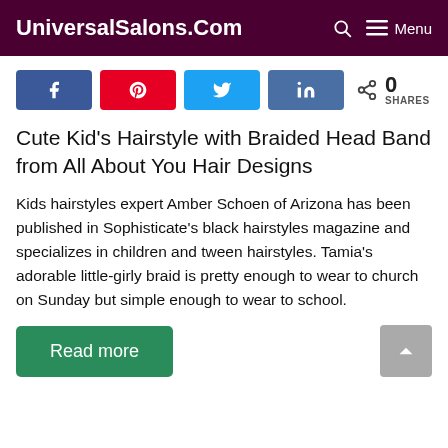UniversalSalons.Com  Menu
[Figure (other): Social share buttons: Facebook, Pinterest, Twitter, LinkedIn, and share count showing 0 SHARES]
Cute Kid's Hairstyle with Braided Head Band from All About You Hair Designs
Kids hairstyles expert Amber Schoen of Arizona has been published in Sophisticate's black hairstyles magazine and specializes in children and tween hairstyles. Tamia's adorable little-girly braid is pretty enough to wear to church on Sunday but simple enough to wear to school.
Read more